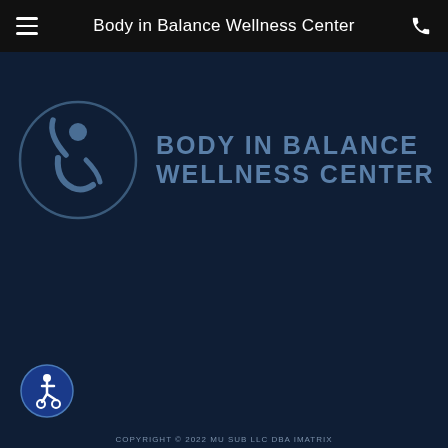Body in Balance Wellness Center
[Figure (logo): Body in Balance Wellness Center logo — circular emblem with stylized human figure and text 'BODY IN BALANCE WELLNESS CENTER' in bold blue letters on dark navy background]
[Figure (infographic): Row of six social media icons (Facebook, Twitter, LinkedIn, YouTube, Pinterest, Instagram) as white circles on dark navy background, and a back-to-top chevron button]
[Figure (other): Accessibility icon — blue circle with wheelchair user symbol]
COPYRIGHT © 2022 MU SUB LLC DBA IMATRIX